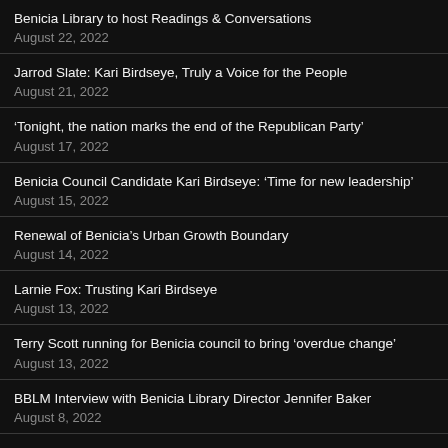Benicia Library to host Readings & Conversations
August 22, 2022
Jarrod Slate: Kari Birdseye, Truly a Voice for the People
August 21, 2022
‘Tonight, the nation marks the end of the Republican Party’
August 17, 2022
Benicia Council Candidate Kari Birdseye: ‘Time for new leadership’
August 15, 2022
Renewal of Benicia’s Urban Growth Boundary
August 14, 2022
Larnie Fox: Trusting Kari Birdseye
August 13, 2022
Terry Scott running for Benicia council to bring ‘overdue change’
August 13, 2022
BBLM Interview with Benicia Library Director Jennifer Baker
August 8, 2022
COVID UPDATE – What it’s like now – are we in the endemic stage?